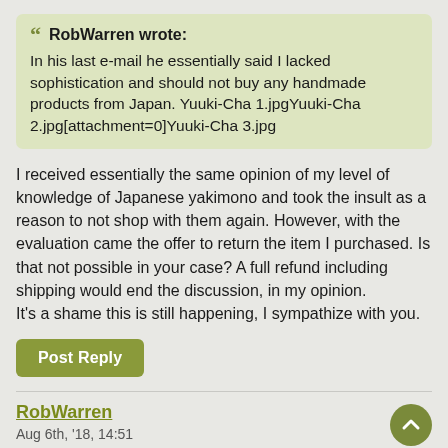RobWarren wrote: In his last e-mail he essentially said I lacked sophistication and should not buy any handmade products from Japan. Yuuki-Cha 1.jpgYuuki-Cha 2.jpg[attachment=0]Yuuki-Cha 3.jpg
I received essentially the same opinion of my level of knowledge of Japanese yakimono and took the insult as a reason to not shop with them again. However, with the evaluation came the offer to return the item I purchased. Is that not possible in your case? A full refund including shipping would end the discussion, in my opinion.
It's a shame this is still happening, I sympathize with you.
Post Reply
RobWarren
Aug 6th, '18, 14:51